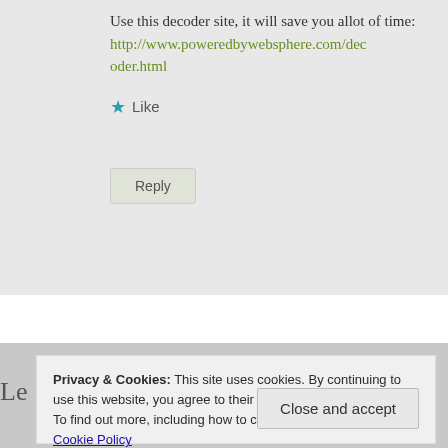Use this decoder site, it will save you allot of time: http://www.poweredbywebsphere.com/decoder.html
★ Like
Reply
Privacy & Cookies: This site uses cookies. By continuing to use this website, you agree to their use. To find out more, including how to control cookies, see here: Cookie Policy
Close and accept